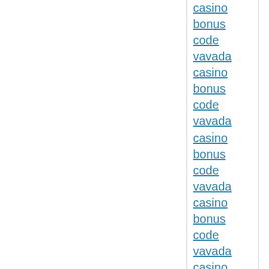casino
bonus
code
vavada
casino
bonus
code
vavada
casino
bonus
code
vavada
casino
bonus
code
vavada
casino
bonus
code
vavada